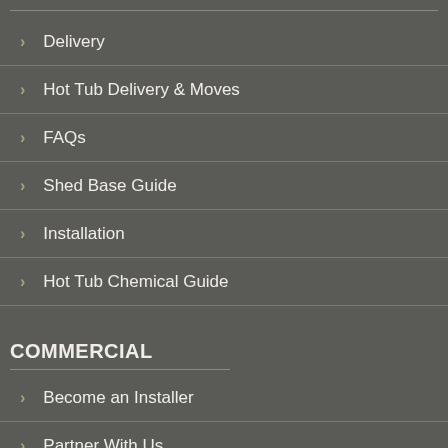Delivery
Hot Tub Delivery & Moves
FAQs
Shed Base Guide
Installation
Hot Tub Chemical Guide
COMMERCIAL
Become an Installer
Partner With Us
Affiliate Program